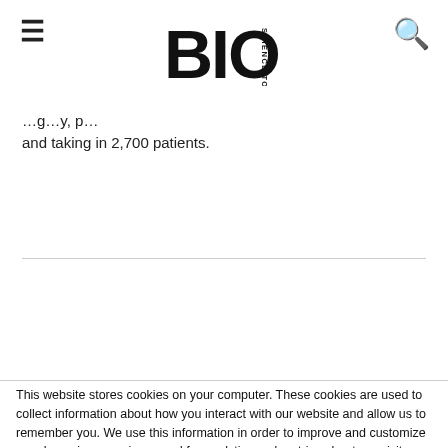BIO SCIENCE TODAY
and taking in 2,700 patients.
This website stores cookies on your computer. These cookies are used to collect information about how you interact with our website and allow us to remember you. We use this information in order to improve and customize your browsing experience and for analytics and metrics about our visitors both on this website and other media. To find out more about the cookies we use, see our Privacy Policy.
If you decline, your information won't be tracked when you visit this website. A single cookie will be used in your browser to remember your preference not to be tracked.